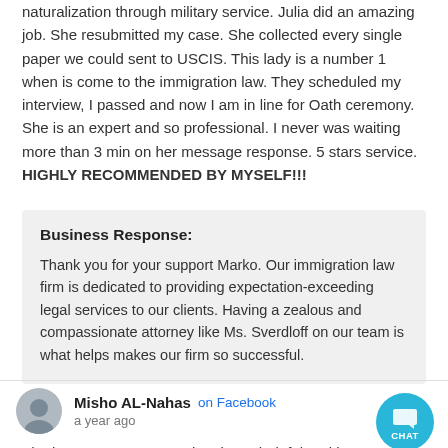naturalization through military service. Julia did an amazing job. She resubmitted my case. She collected every single paper we could sent to USCIS. This lady is a number 1 when is come to the immigration law. They scheduled my interview, I passed and now I am in line for Oath ceremony. She is an expert and so professional. I never was waiting more than 3 min on her message response. 5 stars service. HIGHLY RECOMMENDED BY MYSELF!!!
Business Response:
Thank you for your support Marko. Our immigration law firm is dedicated to providing expectation-exceeding legal services to our clients. Having a zealous and compassionate attorney like Ms. Sverdloff on our team is what helps makes our firm so successful.
Misho AL-Nahas on Facebook
a year ago
The best attorney ever existed!! So helpful and i was blessed to deal with her!!! Just an amazing personality and very helpful! God